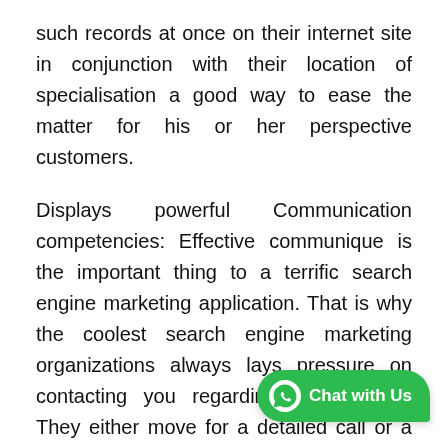such records at once on their internet site in conjunction with their location of specialisation a good way to ease the matter for his or her perspective customers.
Displays powerful Communication competencies: Effective communique is the important thing to a terrific search engine marketing application. That is why the coolest search engine marketing organizations always lays pressure on contacting you regarding every detail. They either move for a detailed call or a head to head assembly in order to recognize your search engine optimization desires properly and get rid of any possibilities of miscommunication.
Uses the proper analytic tools: A correct SEO control organization can be well versed component of Google analytics. They spend great
[Figure (other): WhatsApp Chat with Us widget button in green, bottom right corner]